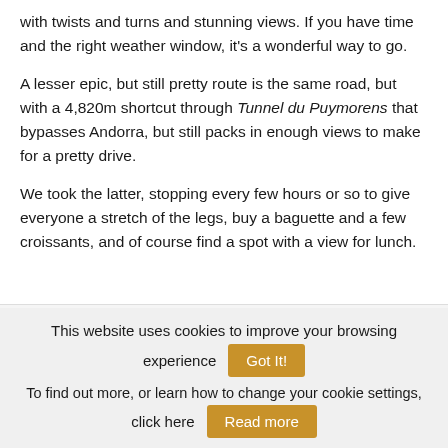with twists and turns and stunning views. If you have time and the right weather window, it's a wonderful way to go.
A lesser epic, but still pretty route is the same road, but with a 4,820m shortcut through Tunnel du Puymorens that bypasses Andorra, but still packs in enough views to make for a pretty drive.
We took the latter, stopping every few hours or so to give everyone a stretch of the legs, buy a baguette and a few croissants, and of course find a spot with a view for lunch.
This website uses cookies to improve your browsing experience   Got It!   To find out more, or learn how to change your cookie settings, click here   Read more